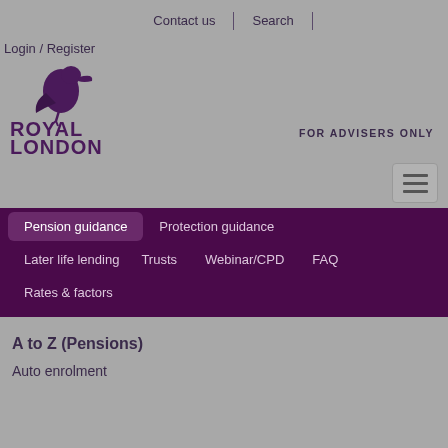Contact us | Search
Login / Register
[Figure (logo): Royal London logo with pelican bird icon and text ROYAL LONDON in dark purple]
FOR ADVISERS ONLY
Pension guidance
Protection guidance
Later life lending
Trusts
Webinar/CPD
FAQ
Rates & factors
A to Z (Pensions)
Auto enrolment